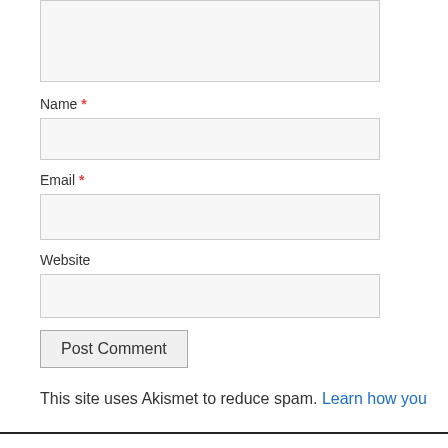[Figure (screenshot): Textarea input box (top of page, cropped)]
Name *
[Figure (screenshot): Name text input field]
Email *
[Figure (screenshot): Email text input field]
Website
[Figure (screenshot): Website text input field]
Post Comment
This site uses Akismet to reduce spam. Learn how you